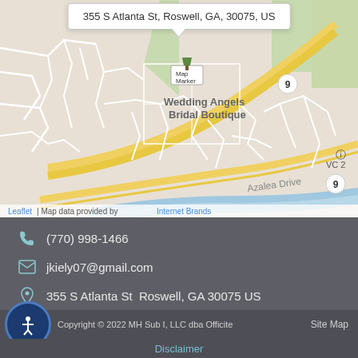[Figure (map): Street map showing location at 355 S Atlanta St, Roswell, GA 30075, US with a tooltip popup and map label 'Wedding Angels Bridal Boutique'. Road 9 visible, Azalea Drive labeled, blue river/water body visible. Leaflet map attribution shown.]
(770) 998-1466
jkiely07@gmail.com
355 S Atlanta St  Roswell, GA 30075 US
Copyright © 2022 MH Sub I, LLC dba Officite
Site Map
Disclaimer